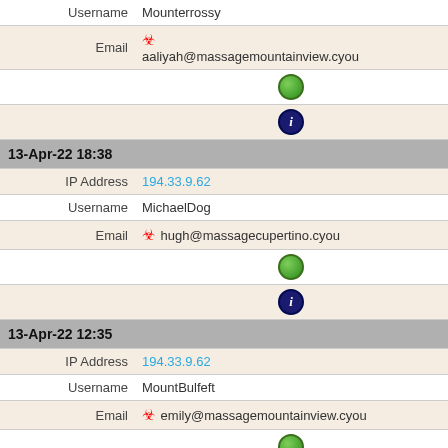| Username | Mounsterrossy |
| Email | ☣ aaliyah@massagemountainview.cyou |
|  | 🌐 |
|  | ℹ |
| 13-Apr-22 18:38 |  |
| IP Address | 194.33.9.62 |
| Username | MichaelDog |
| Email | ☣ hugh@massagecupertino.cyou |
|  | 🌐 |
|  | ℹ |
| 13-Apr-22 12:35 |  |
| IP Address | 194.33.9.62 |
| Username | MountBulfeft |
| Email | ☣ emily@massagemountainview.cyou |
|  | 🌐 |
|  | ℹ ℹ |